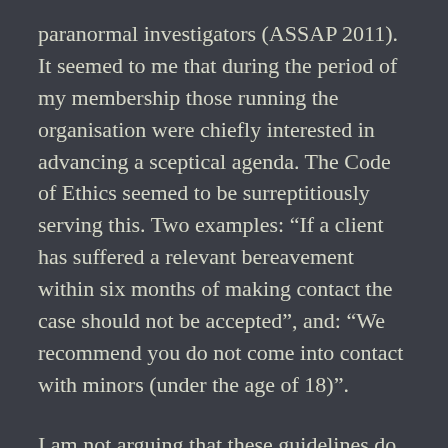paranormal investigators (ASSAP 2011). It seemed to me that during the period of my membership those running the organisation were chiefly interested in advancing a sceptical agenda. The Code of Ethics seemed to be surreptitiously serving this. Two examples: “If a client has suffered a relevant bereavement within six months of making contact the case should not be accepted”, and: “We recommend you do not come into contact with minors (under the age of 18)”.
I am not arguing that these guidelines do not reflect valid and important ethical concerns but highlighting how following them will tend to preclude certain types of situations likely to